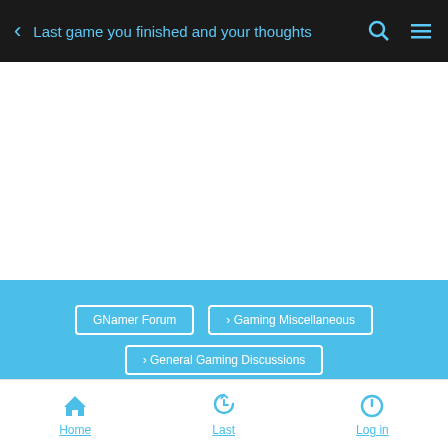Last game you finished and your thoughts
[Figure (screenshot): White advertisement/blank area]
GNamer Forum > Gaming Miscellaneous > General Gaming Discussions
Last game you finished and your thoughts
[Figure (photo): Row of user avatar profile pictures]
Home  Last  Log in